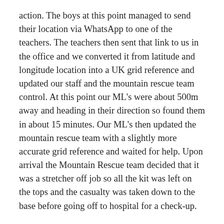action. The boys at this point managed to send their location via WhatsApp to one of the teachers. The teachers then sent that link to us in the office and we converted it from latitude and longitude location into a UK grid reference and updated our staff and the mountain rescue team control. At this point our ML's were about 500m away and heading in their direction so found them in about 15 minutes. Our ML's then updated the mountain rescue team with a slightly more accurate grid reference and waited for help. Upon arrival the Mountain Rescue team decided that it was a stretcher off job so all the kit was left on the tops and the casualty was taken down to the base before going off to hospital for a check-up.
In the meantime we in the office contacted other staff that we had out in the Lakes whose duties had finished for the day and asked them to help by locating the girls group and ensuring that they were OK. The other group were located, a well-being check was performed and they continued on their way to their campsite where they met with their supervisor and some